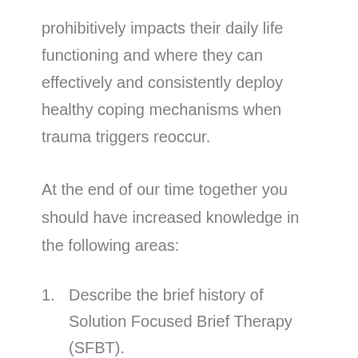prohibitively impacts their daily life functioning and where they can effectively and consistently deploy healthy coping mechanisms when trauma triggers reoccur.
At the end of our time together you should have increased knowledge in the following areas:
Describe the brief history of Solution Focused Brief Therapy (SFBT).
Name at least two factors that influenced the pioneers of SFBT.